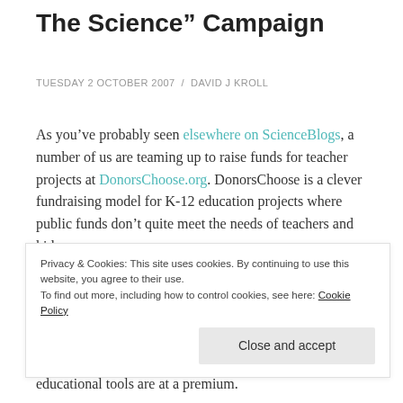The Science" Campaign
TUESDAY 2 OCTOBER 2007  /  DAVID J KROLL
As you’ve probably seen elsewhere on ScienceBlogs, a number of us are teaming up to raise funds for teacher projects at DonorsChoose.org. DonorsChoose is a clever fundraising model for K-12 education projects where public funds don’t quite meet the needs of teachers and kids. The idea is that teachers propose projects and “donors choose” which ones they would like to support. You can
Privacy & Cookies: This site uses cookies. By continuing to use this website, you agree to their use.
To find out more, including how to control cookies, see here: Cookie Policy
Close and accept
educational tools are at a premium.